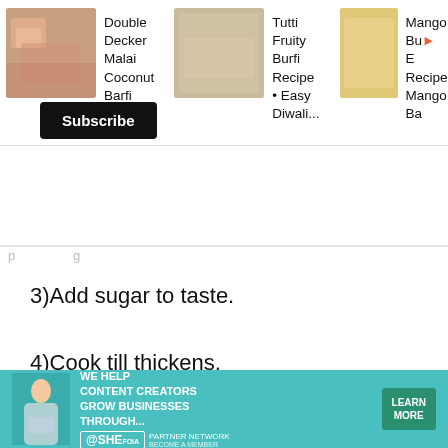[Figure (screenshot): Top navigation bar showing three recipe cards: Double Decker Malai Coconut Barfi Recipe, Tutti Fruity Burfi Recipe Easy Diwali, and Mango Burfi Recipe with food thumbnails]
Subscribe
3)Add sugar to taste.
4)Cook till thickens.
5)Add in flavourings and extracts
6)Transfer to a mould.
[Figure (screenshot): UI overlay with up chevron button, heart/like button with count 23, and orange search/magnifier button, plus X close button]
[Figure (screenshot): Bottom advertisement banner: SHE Partner Network - We help content creators grow businesses through... Learn More button]